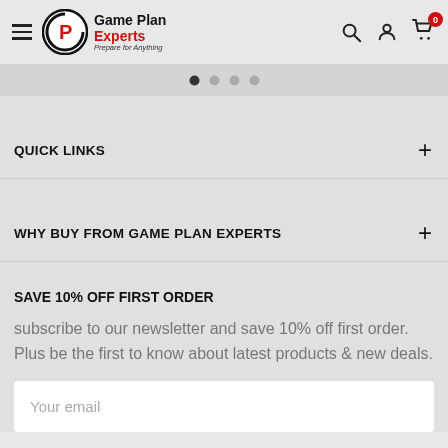Game Plan Experts — Prepare for Anything
QUICK LINKS
WHY BUY FROM GAME PLAN EXPERTS
SAVE 10% OFF FIRST ORDER
subscribe to our newsletter and save 10% off first order. Plus be the first to know about latest products & new deals.
Your email